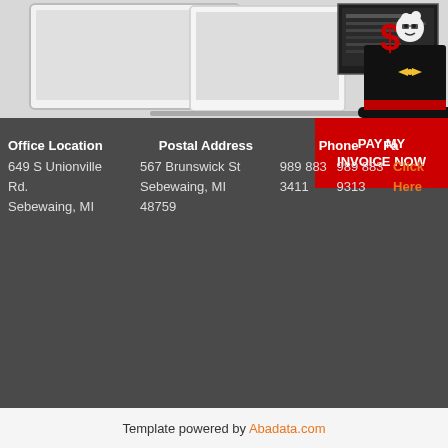[Figure (screenshot): Top section showing device mockups (tablet/laptop) and a website screenshot on a dark monitor, with a magician mascot character wearing a top hat with dollar sign]
[Figure (illustration): PAY MY INVOICE NOW red button with magician mascot]
Office Location
649 S Unionville Rd.
Sebewaing, MI
Postal Address
567 Brunswick St
Sebewaing, MI 48759
Phone
989 883 3411
Fax
989 883 9313
Click Here
Template powered by Abadata.com